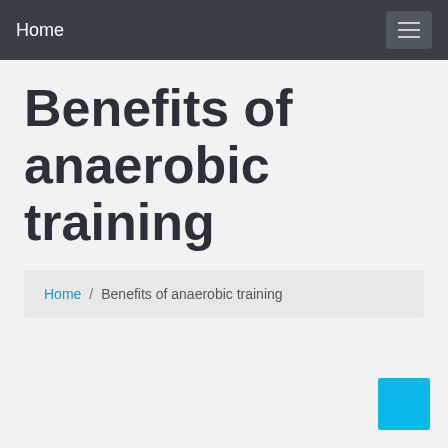Home
Benefits of anaerobic training
Home / Benefits of anaerobic training